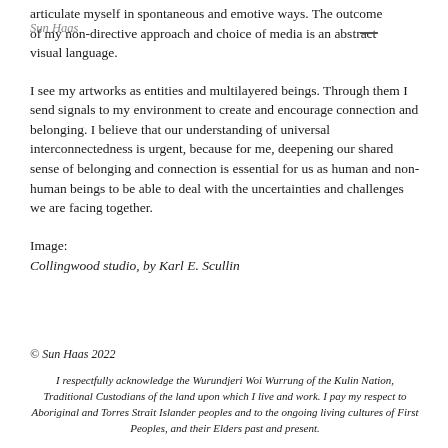articulate myself in spontaneous and emotive ways. The outcome of my non-directive approach and choice of media is an abstract visual language.
I see my artworks as entities and multilayered beings. Through them I send signals to my environment to create and encourage connection and belonging. I believe that our understanding of universal interconnectedness is urgent, because for me, deepening our shared sense of belonging and connection is essential for us as human and non-human beings to be able to deal with the uncertainties and challenges we are facing together.
Image:
Collingwood studio, by Karl E. Scullin
© Sun Haas 2022
I respectfully acknowledge the Wurundjeri Woi Wurrung of the Kulin Nation, Traditional Custodians of the land upon which I live and work. I pay my respect to Aboriginal and Torres Strait Islander peoples and to the ongoing living cultures of First Peoples, and their Elders past and present.